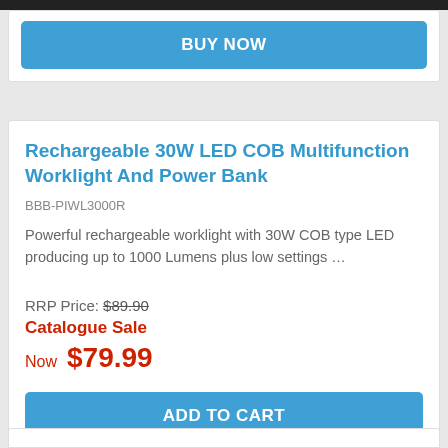BUY NOW
Rechargeable 30W LED COB Multifunction Worklight And Power Bank
BBB-PIWL3000R
Powerful rechargeable worklight with 30W COB type LED producing up to 1000 Lumens plus low settings …
RRP Price: $89.90
Catalogue Sale
Now  $79.99
ADD TO CART